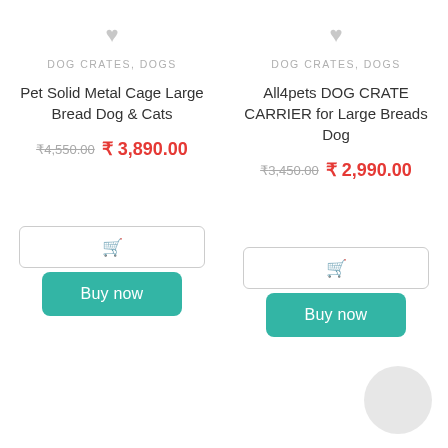DOG CRATES, DOGS
Pet Solid Metal Cage Large Bread Dog & Cats
₹4,550.00  ₹ 3,890.00
DOG CRATES, DOGS
All4pets DOG CRATE CARRIER for Large Breads Dog
₹3,450.00  ₹ 2,990.00